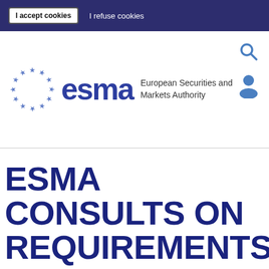I accept cookies   I refuse cookies
[Figure (logo): ESMA logo with EU stars circle, ESMA wordmark in blue, and text 'European Securities and Markets Authority'. Search and user account icons on the right.]
ESMA CONSULTS ON REQUIREMENTS FOR SECURITISATION REP